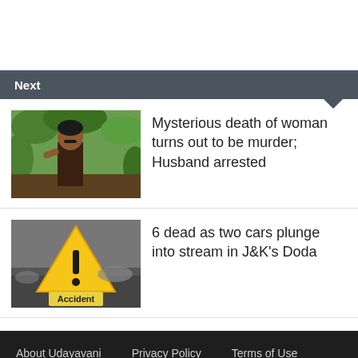Next
Mysterious death of woman turns out to be murder; Husband arrested
6 dead as two cars plunge into stream in J&K's Doda
About Udayavani  Privacy Policy  Terms of Use  Contact Us  Copyright © 2022